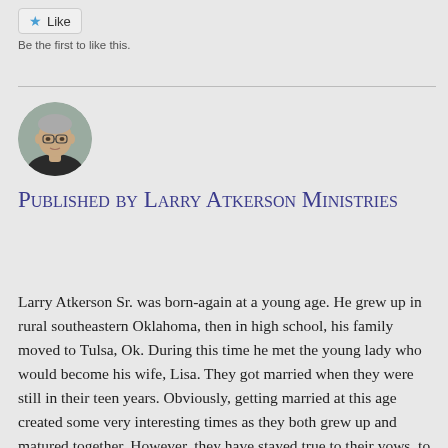[Figure (other): Like button UI element with star icon]
Be the first to like this.
[Figure (photo): Circular avatar photo of a middle-aged man with gray hair]
Published by Larry Atkerson Ministries
Larry Atkerson Sr. was born-again at a young age. He grew up in rural southeastern Oklahoma, then in high school, his family moved to Tulsa, Ok. During this time he met the young lady who would become his wife, Lisa. They got married when they were still in their teen years. Obviously, getting married at this age created some very interesting times as they both grew up and matured together. However, they have stayed true to their vows, to each other, and have